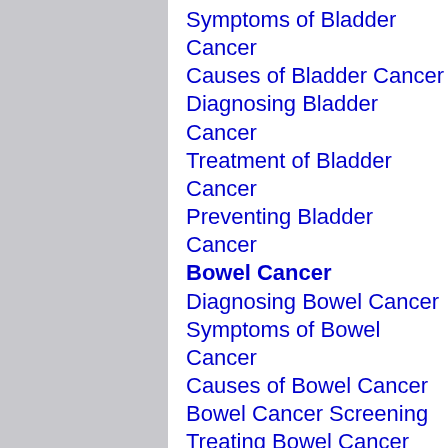Symptoms of Bladder Cancer
Causes of Bladder Cancer
Diagnosing Bladder Cancer
Treatment of Bladder Cancer
Preventing Bladder Cancer
Bowel Cancer
Diagnosing Bowel Cancer
Symptoms of Bowel Cancer
Causes of Bowel Cancer
Bowel Cancer Screening
Treating Bowel Cancer
Preventing Bowel Cancer
Living With Bowel Cancer
Bone Cancer
Symptoms of Bone Cancer
Diagnosing Bone Cancer
Treating Bone Cancer
Causes of Bone Cancer